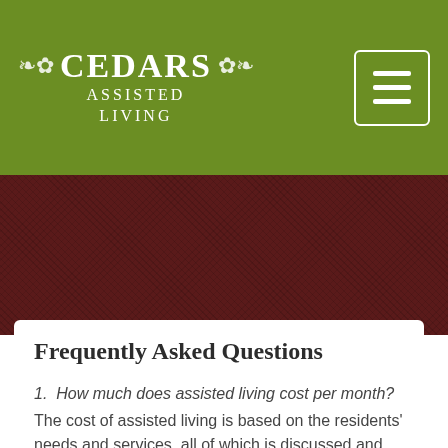CEDARS ASSISTED LIVING
Frequently Asked Questions
1.  How much does assisted living cost per month?
The cost of assisted living is based on the residents' needs and services, all of which is discussed and determined during a proper assessment of each potential resident.  Cedars Assisted Living also offers the option of a shared or private room.
2.  What is typically included in the monthly fee?
Whether a resident is in a shared room